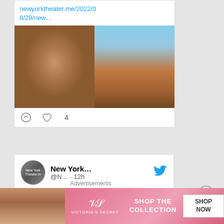newyorktheater.me/2022/08/29/new…
[Figure (photo): Two photos side by side: left shows a man's headshot (close-up face), right shows a large puppet/marionette figure against a sky background]
♡ 4
New York… @N… · 12h
New Season Wows. Robert LuPone (1946-2022) #Stageworthy News of the Week
[Figure (advertisement): Victoria's Secret advertisement banner: model photo on left, VS logo in center, SHOP THE COLLECTION text, SHOP NOW button on right, pink background]
Advertisements